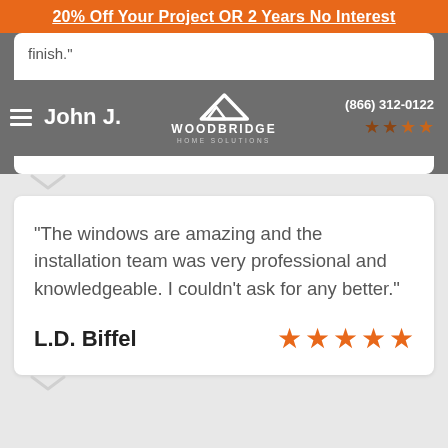20% Off Your Project OR 2 Years No Interest
[Figure (screenshot): Woodbridge Home Solutions website header with navigation hamburger menu, reviewer name John J., company logo with mountain icon, phone number (866) 312-0122, and 4-star rating in brown/orange]
finish."
"The windows are amazing and the installation team was very professional and knowledgeable. I couldn't ask for any better."
L.D. Biffel